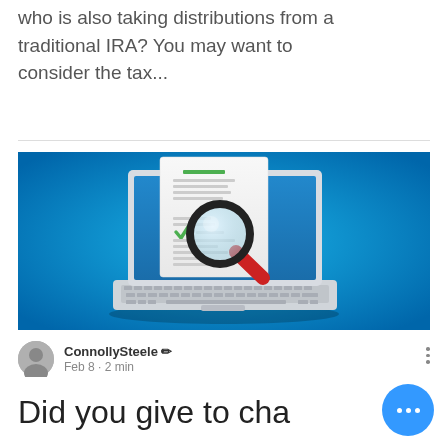who is also taking distributions from a traditional IRA? You may want to consider the tax...
[Figure (illustration): Illustration of a laptop computer with a document on screen showing a green checkmark, and a large magnifying glass overlaid on top, all on a blue gradient background.]
ConnollySteele ✏ Feb 8 · 2 min
Did you give to cha...